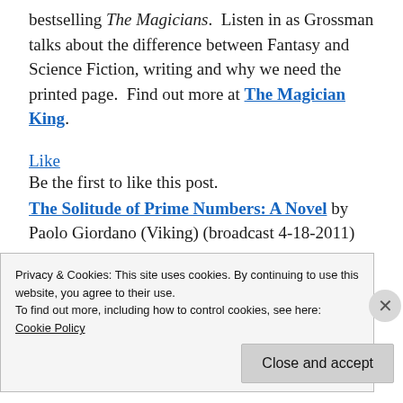bestselling The Magicians.  Listen in as Grossman talks about the difference between Fantasy and Science Fiction, writing and why we need the printed page.  Find out more at The Magician King.
Like
Be the first to like this post.
The Solitude of Prime Numbers: A Novel by Paolo Giordano (Viking) (broadcast 4-18-2011)
A best selling international literary sensation
Privacy & Cookies: This site uses cookies. By continuing to use this website, you agree to their use.
To find out more, including how to control cookies, see here:
Cookie Policy
Close and accept